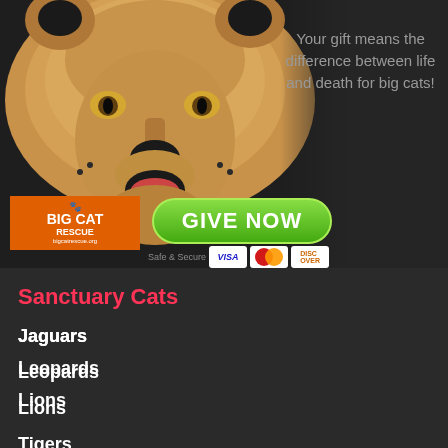[Figure (photo): Close-up photo of a lion/lioness face on dark background with Big Cat Rescue logo, a green 'GIVE NOW' button, and payment icons. Text overlay reads 'Your gift means the difference between life and death for big cats!']
Your gift means the difference between life and death for big cats!
Sanctuary Cats
Jaguars
Leopards
Lions
Tigers
Bobcats